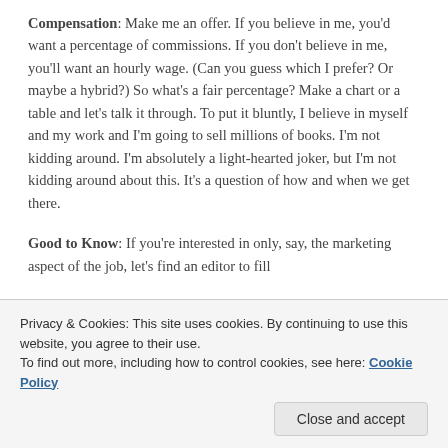Compensation: Make me an offer. If you believe in me, you'd want a percentage of commissions. If you don't believe in me, you'll want an hourly wage. (Can you guess which I prefer? Or maybe a hybrid?) So what's a fair percentage? Make a chart or a table and let's talk it through. To put it bluntly, I believe in myself and my work and I'm going to sell millions of books. I'm not kidding around. I'm absolutely a light-hearted joker, but I'm not kidding around about this. It's a question of how and when we get there.
Good to Know: If you're interested in only, say, the marketing aspect of the job, let's find an editor to fill...
Privacy & Cookies: This site uses cookies. By continuing to use this website, you agree to their use. To find out more, including how to control cookies, see here: Cookie Policy
not a typical Job Offerer. I'm smart enough to know that